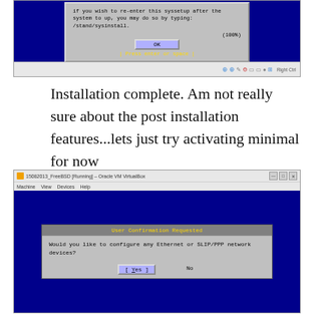[Figure (screenshot): VirtualBox window showing FreeBSD installer dialog with OK button and 'Press enter or space' prompt at 100%]
Installation complete. Am not really sure about the post installation features...lets just try activating minimal for now
[Figure (screenshot): VirtualBox window showing FreeBSD 'User Confirmation Requested' dialog asking 'Would you like to configure any Ethernet or SLIP/PPP network devices?' with [Yes] and No buttons]